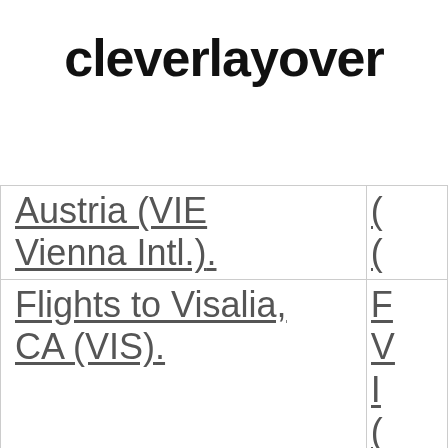cleverlayover
| Austria (VIE Vienna Intl.). |  |
| Flights to Visalia, CA (VIS). |  |
| Flights to Rach... |  |